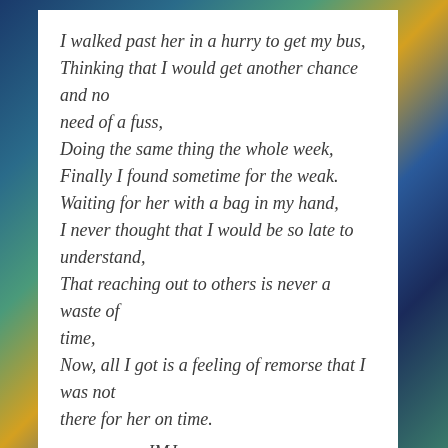I walked past her in a hurry to get my bus,
Thinking that I would get another chance and no need of a fuss,
Doing the same thing the whole week,
Finally I found sometime for the weak.
Waiting for her with a bag in my hand,
I never thought that I would be so late to understand,
That reaching out to others is never a waste of time,
Now, all I got is a feeling of remorse that I was not there for her on time.
-JMJ